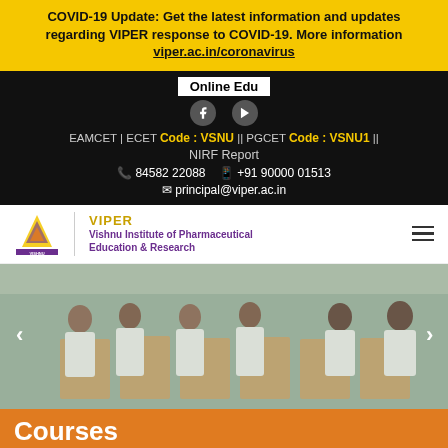COVID-19 Update: Get the latest information and updates regarding VIPER response to COVID-19. More information viper.ac.in/coronavirus
Online Edu
EAMCET | ECET Code : VSNU || PGCET Code : VSNU1 || NIRF Report
84582 22088  +91 90000 01513
principal@viper.ac.in
[Figure (logo): VIPER - Vishnu Institute of Pharmaceutical Education & Research logo with Vishnu emblem]
[Figure (photo): Students in white lab coats working at laboratory benches]
Courses
Flash News
Annual Reports